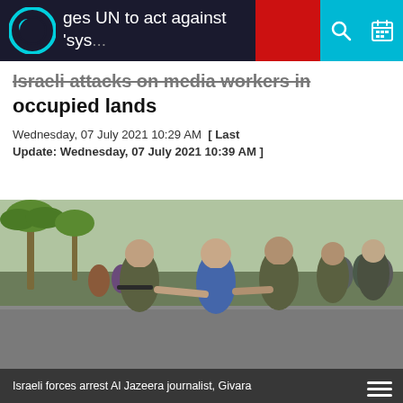ges UN to act against 'sys... Israeli attacks on media workers in occupied lands
Israeli attacks on media workers in occupied lands
Wednesday, 07 July 2021 10:29 AM [ Last Update: Wednesday, 07 July 2021 10:39 AM ]
[Figure (photo): Israeli forces arresting Al Jazeera journalist Givara, with armed soldiers grabbing a woman on a street with crowds and palm trees in the background]
Israeli forces arrest Al Jazeera journalist, Givara